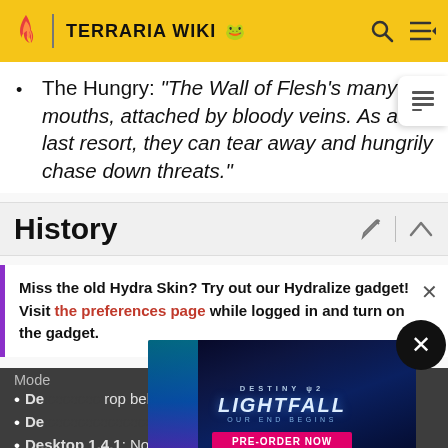TERRARIA WIKI
The Hungry: "The Wall of Flesh's many mouths, attached by bloody veins. As a last resort, they can tear away and hungrily chase down threats."
History
Miss the old Hydra Skin? Try out our Hydralize gadget! Visit the preferences page while logged in and turn on the gadget.
Mode
Desktop ... rop bel...
De... ...d
Desktop 1.4.1: Now causes the screen to fade to
[Figure (screenshot): Destiny 2 Lightfall advertisement banner with text 'OUR END BEGINS' and 'PRE-ORDER NOW' button]